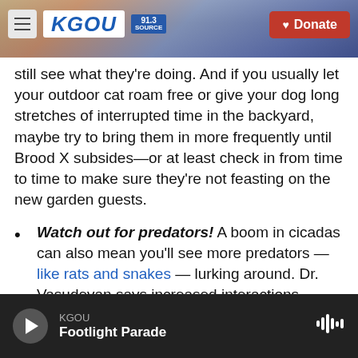[Figure (screenshot): KGOU radio station website header with logo, hamburger menu, and red Donate button, over a city background photo]
still see what they're doing. And if you usually let your outdoor cat roam free or give your dog long stretches of interrupted time in the backyard, maybe try to bring them in more frequently until Brood X subsides—or at least check in from time to time to make sure they're not feasting on the new garden guests.
Watch out for predators! A boom in cicadas can also mean you'll see more predators — like rats and snakes — lurking around. Dr. Vasudevan says increased interactions between you pets and these predators is most definitely a cause for concern.
KGOU | Footlight Parade